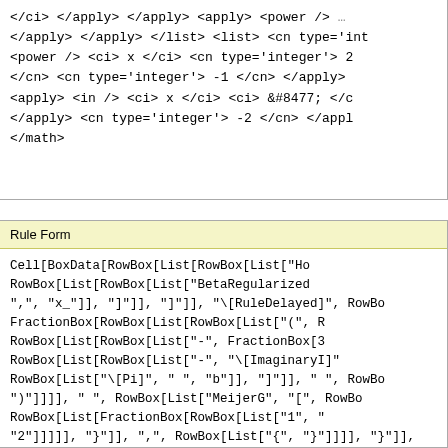</ci> </apply> </apply> <apply> <power /> </apply> </apply> </list> <list> <cn type='int <power /> <ci> x </ci> <cn type='integer'> 2 </cn> <cn type='integer'> -1 </cn> </apply> <apply> <in /> <ci> x </ci> <ci> &#8477; </ci> </apply> <cn type='integer'> -2 </cn> </appl </math>
Rule Form
Cell[BoxData[RowBox[List[RowBox[List["Ho RowBox[List[RowBox[List["BetaRegularized ",", "x_"]], "]"]], "]"]], "\[RuleDelayed]", RowBo FractionBox[RowBox[List[RowBox[List["(", R RowBox[List[RowBox[List["-", FractionBox[3 RowBox[List[RowBox[List["-", "\[ImaginaryI]" RowBox[List["\[Pi]", " ", "b"]], "]"]], " ", RowBo ")"]]]], " ", RowBox[List["MeijerG", "[", RowBo RowBox[List[FractionBox[RowBox[List["1", " "2"]]]]], "}"]], ",", RowBox[List["{", "}"]]]], "}"]], RowBox[List[RowBox[List["-", FractionBox["1